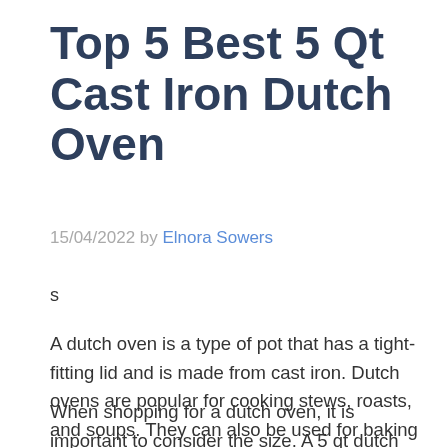Top 5 Best 5 Qt Cast Iron Dutch Oven
15/04/2022 by Elnora Sowers
s
A dutch oven is a type of pot that has a tight-fitting lid and is made from cast iron. Dutch ovens are popular for cooking stews, roasts, and soups. They can also be used for baking bread and other desserts.
When shopping for a dutch oven, it is important to consider the size. A 5 qt dutch oven is a good size for a family of four or five. It is also